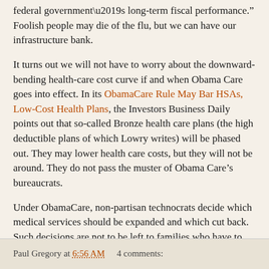federal government’s long-term fiscal performance.” Foolish people may die of the flu, but we can have our infrastructure bank.
It turns out we will not have to worry about the downward-bending health-care cost curve if and when Obama Care goes into effect. In its ObamaCare Rule May Bar HSAs, Low-Cost Health Plans, the Investors Business Daily points out that so-called Bronze health care plans (the high deductible plans of which Lowry writes) will be phased out. They may lower health care costs, but they will not be around. They do not pass the muster of Obama Care’s bureaucrats.
Under ObamaCare, non-partisan technocrats decide which medical services should be expanded and which cut back. Such decisions are not to be left to families who have to “think twice” about how they spend their money.
Dr. Gregory's latest book can be found at Amazon.com.
Paul Gregory at 6:56 AM    4 comments: